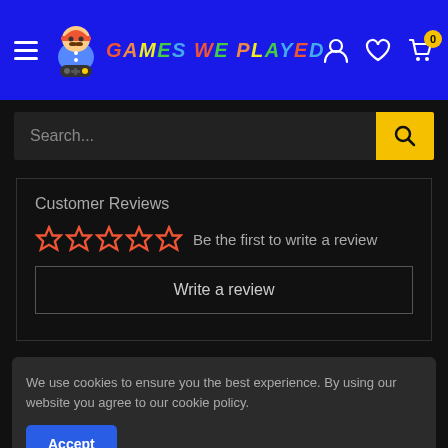Games We Played - navigation header with search bar
Customer Reviews
☆☆☆☆☆ Be the first to write a review
Write a review
We use cookies to ensure you the best experience. By using our website you agree to our cookie policy.
Accept